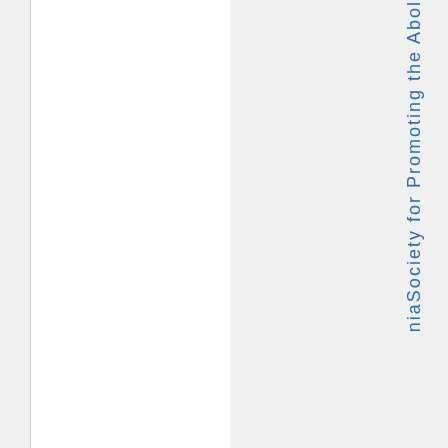niaSociety for Promoting the Abol